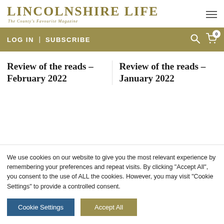LINCOLNSHIRE LIFE — The County's Favourite Magazine
LOG IN | SUBSCRIBE
Review of the reads – February 2022
Review of the reads – January 2022
We use cookies on our website to give you the most relevant experience by remembering your preferences and repeat visits. By clicking "Accept All", you consent to the use of ALL the cookies. However, you may visit "Cookie Settings" to provide a controlled consent.